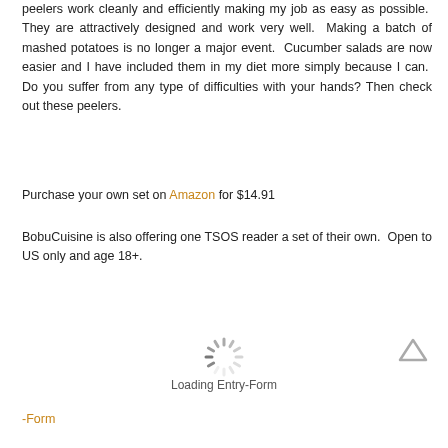peelers work cleanly and efficiently making my job as easy as possible. They are attractively designed and work very well. Making a batch of mashed potatoes is no longer a major event. Cucumber salads are now easier and I have included them in my diet more simply because I can. Do you suffer from any type of difficulties with your hands? Then check out these peelers.
Purchase your own set on Amazon for $14.91
BobuCuisine is also offering one TSOS reader a set of their own. Open to US only and age 18+.
[Figure (other): Loading spinner icon (circular dashed spinner graphic)]
Loading Entry-Form
-Form